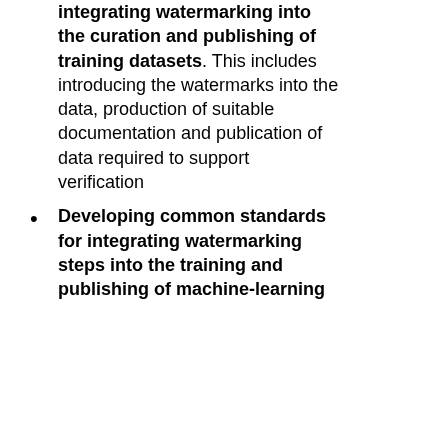integrating watermarking into the curation and publishing of training datasets. This includes introducing the watermarks into the data, production of suitable documentation and publication of data required to support verification
Developing common standards for integrating watermarking steps into the training and publishing of machine-learning